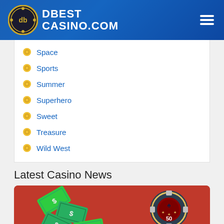DBEST CASINO.COM
Space
Sports
Summer
Superhero
Sweet
Treasure
Wild West
Latest Casino News
[Figure (illustration): Casino news card with red background showing scattered dollar bills, a casino chip marked 50, and golden 777 slot symbols]